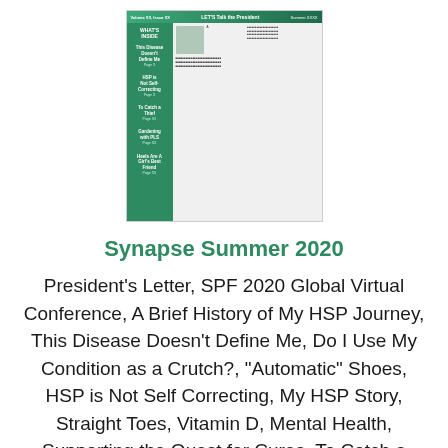[Figure (screenshot): Thumbnail image of the Synapse Summer 2020 newsletter cover, showing a green sidebar with article titles and a main content area with a photo of a person and text columns.]
Synapse Summer 2020
President's Letter, SPF 2020 Global Virtual Conference, A Brief History of My HSP Journey, This Disease Doesn't Define Me, Do I Use My Condition as a Crutch?, "Automatic" Shoes, HSP is Not Self Correcting, My HSP Story, Straight Toes, Vitamin D, Mental Health, Supporting the Quest for Cures, To Catch a Thief, Gardening with PLS, Heels are a Girl's Best Friend, Your